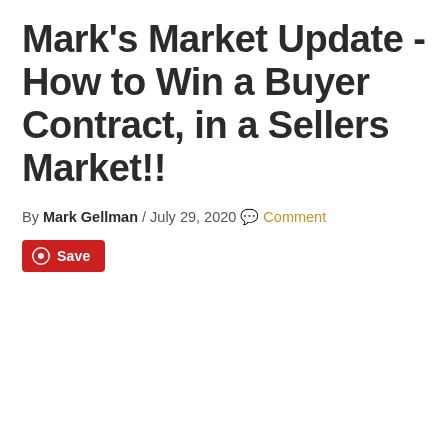Mark's Market Update - How to Win a Buyer Contract, in a Sellers Market!!
By Mark Gellman / July 29, 2020  Comment
Save